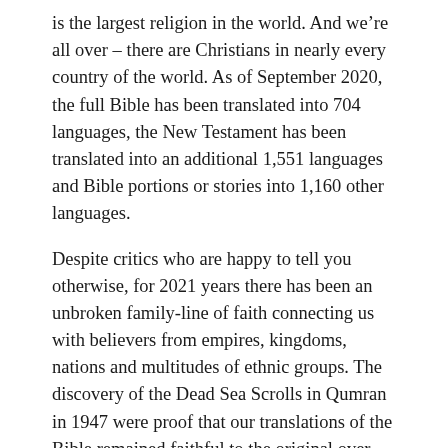is the largest religion in the world. And we're all over – there are Christians in nearly every country of the world. As of September 2020, the full Bible has been translated into 704 languages, the New Testament has been translated into an additional 1,551 languages and Bible portions or stories into 1,160 other languages.
Despite critics who are happy to tell you otherwise, for 2021 years there has been an unbroken family-line of faith connecting us with believers from empires, kingdoms, nations and multitudes of ethnic groups. The discovery of the Dead Sea Scrolls in Qumran in 1947 were proof that our translations of the Bible remained faithful to the original over thousands of years. A reading of Martin Luther's Commentary on the Book of Romans from 1515 shows that our modern understanding of God's Word has not altered significantly in over 500 years. Governments changed, borders changed, people groups migrated and were conquered, but the Word of God and the Good News